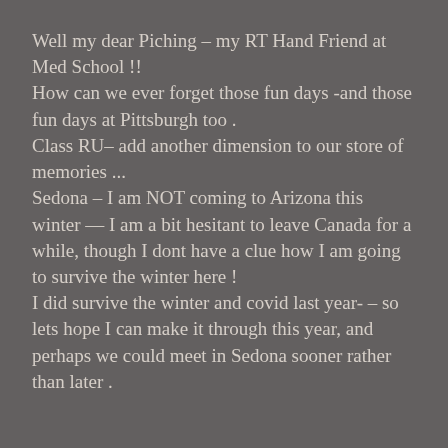Well my dear Piching – my RT Hand Friend at Med School !! How can we ever forget those fun days -and those fun days at Pittsburgh too . Class RU– add another dimension to our store of memories ... Sedona – I am NOT coming to Arizona this winter — I am a bit hesitant to leave Canada for a while, though I dont have a clue how I am going to survive the winter here ! I did survive the winter and covid last year- – so lets hope I can make it through this year, and perhaps we could meet in Sedona sooner rather than later .